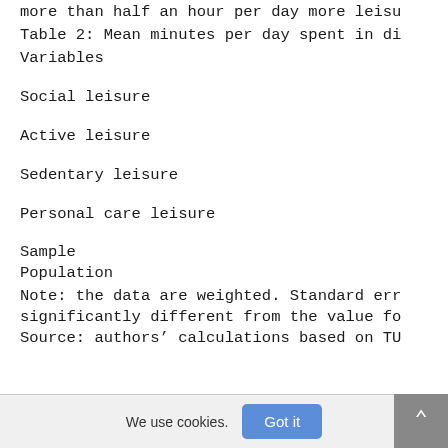more than half an hour per day more leisu
Table 2: Mean minutes per day spent in di
| Variables |
| --- |
| Social leisure |
| Active leisure |
| Sedentary leisure |
| Personal care leisure |
| Sample |
| Population |
Note: the data are weighted. Standard err significantly different from the value fo
Source: authors' calculations based on TU